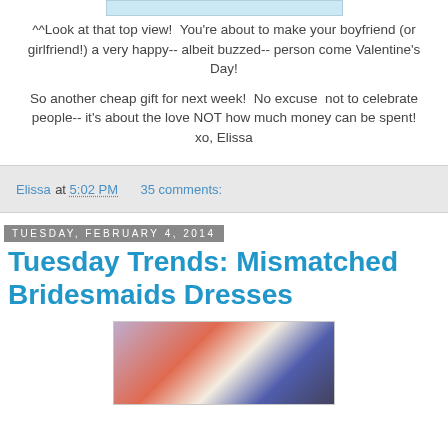[Figure (photo): Top view image placeholder bar (cropped photo of drink/gift)]
^^Look at that top view!  You're about to make your boyfriend (or girlfriend!) a very happy-- albeit buzzed-- person come Valentine's Day!
So another cheap gift for next week!  No excuse  not to celebrate people-- it's about the love NOT how much money can be spent!
xo, Elissa
Elissa at 5:02 PM    35 comments:
Tuesday, February 4, 2014
Tuesday Trends: Mismatched Bridesmaids Dresses
[Figure (photo): Two side-by-side photos of bridesmaids in mismatched colorful dresses]